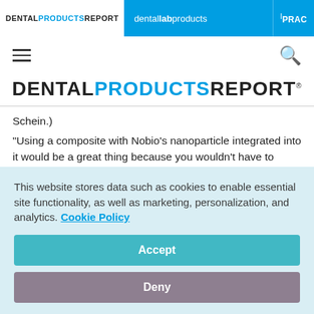DENTAL PRODUCTS REPORT | dental lab products | PRAC
[Figure (logo): Hamburger menu icon and search icon navigation row]
[Figure (logo): DENTAL PRODUCTS REPORT large logo]
Schein.)
“Using a composite with Nobio’s nanoparticle integrated into it would be a great thing because you wouldn’t have to change your process” Dr. Flucke adds. “If you’re already doing the
This website stores data such as cookies to enable essential site functionality, as well as marketing, personalization, and analytics. Cookie Policy
Accept
Deny